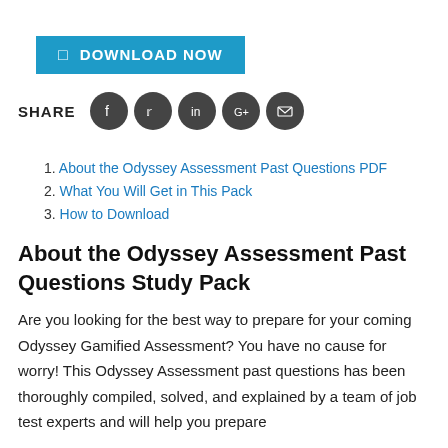[Figure (other): Download Now button with blue background]
SHARE
[Figure (other): Social media share icons: Facebook, Twitter, LinkedIn, Google+, Email]
1. About the Odyssey Assessment Past Questions PDF
2. What You Will Get in This Pack
3. How to Download
About the Odyssey Assessment Past Questions Study Pack
Are you looking for the best way to prepare for your coming Odyssey Gamified Assessment? You have no cause for worry! This Odyssey Assessment past questions has been thoroughly compiled, solved, and explained by a team of job test experts and will help you prepare